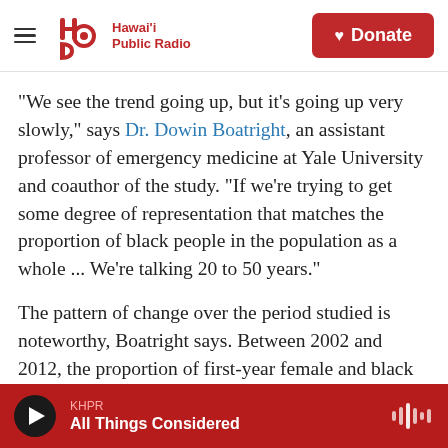Hawai'i Public Radio — Donate
"We see the trend going up, but it's going up very slowly," says Dr. Dowin Boatright, an assistant professor of emergency medicine at Yale University and coauthor of the study. "If we're trying to get some degree of representation that matches the proportion of black people in the population as a whole ... We're talking 20 to 50 years."
The pattern of change over the period studied is noteworthy, Boatright says. Between 2002 and 2012, the proportion of first-year female and black students decreased each year.
KHPR — All Things Considered